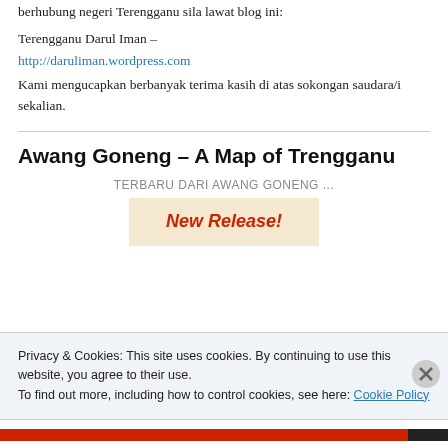berhubung negeri Terengganu sila lawat blog ini:
Terengganu Darul Iman –
http://daruliman.wordpress.com
Kami mengucapkan berbanyak terima kasih di atas sokongan saudara/i sekalian.
Awang Goneng – A Map of Trengganu
TERBARU DARI AWANG GONENG ...
[Figure (illustration): Banner image with text 'New Release!' in red italic bold text on a beige/tan background]
Privacy & Cookies: This site uses cookies. By continuing to use this website, you agree to their use.
To find out more, including how to control cookies, see here: Cookie Policy
Close and accept